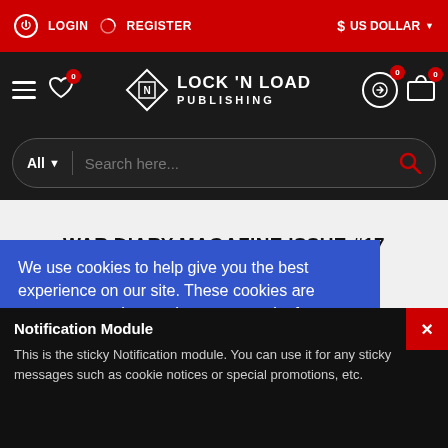LOGIN   REGISTER   $ US DOLLAR
[Figure (screenshot): Lock 'N Load Publishing navigation bar with hamburger menu, heart icon with badge 0, logo, exchange icon with badge 0, cart icon with badge 0]
[Figure (screenshot): Search bar with All dropdown and search here placeholder]
WAR DIARY MAGAZINE ISSUE #17
Series > War Diary Magazine > War Diary Magazine Issue #17
We use cookies to help give you the best experience on our site. These cookies are necessary to shop and access our site features. Privacy & Cookie Policy
Notification Module
This is the sticky Notification module. You can use it for any sticky messages such as cookie notices or special promotions, etc.